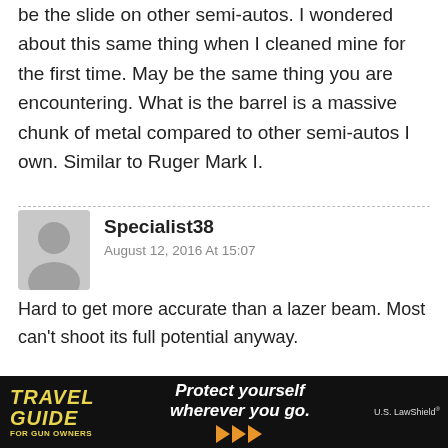be the slide on other semi-autos. I wondered about this same thing when I cleaned mine for the first time. May be the same thing you are encountering. What is the barrel is a massive chunk of metal compared to other semi-autos I own. Similar to Ruger Mark I.
Specialist38
August 12, 2016 At 15:07
Hard to get more accurate than a lazer beam. Most can't shoot its full potential anyway.

Hell, I've got a Pre-War S&W Outdoorsman K-22 that has more potential than anyone I know.

That's what you want. If you're on your game, … be the
[Figure (photo): Advertisement banner: Travel Guide for Gun Owners, Protect yourself wherever you go, U.S. LawShield logo with arrows]